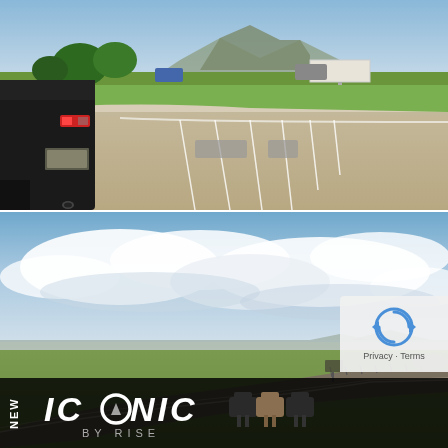[Figure (photo): Parking lot scene with a dark SUV on the left, empty parking spaces with white lines, trees and shrubs in background, mountains on the horizon, blue sky with light clouds, grassy area visible.]
[Figure (photo): Wide open field landscape with a paved road curving to the right, green grass in foreground, distant mountains on horizon, large cloudy sky with blue patches, a sign and fence posts visible in the distance. An ICONIC BY RISE product advertisement banner overlays the bottom portion showing the brand name and product images.]